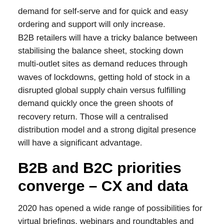demand for self-serve and for quick and easy ordering and support will only increase. B2B retailers will have a tricky balance between stabilising the balance sheet, stocking down multi-outlet sites as demand reduces through waves of lockdowns, getting hold of stock in a disrupted global supply chain versus fulfilling demand quickly once the green shoots of recovery return. Those will a centralised distribution model and a strong digital presence will have a significant advantage.
B2B and B2C priorities converge – CX and data
2020 has opened a wide range of possibilities for virtual briefings, webinars and roundtables and much more, with global reach at a low cost when compared to face-to-face events. Even as we gradually look forward to a return to normal, there is for sure a great potential within this previously